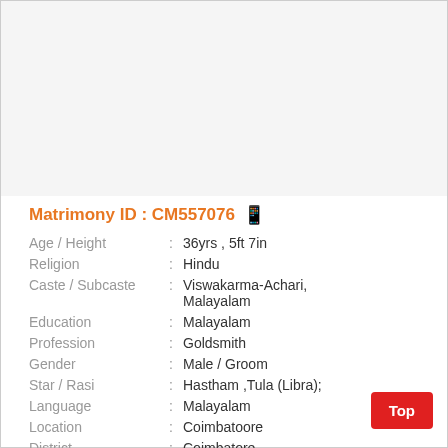[Figure (photo): Empty photo area placeholder at the top of the profile card]
Matrimony ID : CM557076
| Field | : | Value |
| --- | --- | --- |
| Age / Height | : | 36yrs , 5ft 7in |
| Religion | : | Hindu |
| Caste / Subcaste | : | Viswakarma-Achari, Malayalam |
| Education | : | Malayalam |
| Profession | : | Goldsmith |
| Gender | : | Male / Groom |
| Star / Rasi | : | Hastham ,Tula (Libra); |
| Language | : | Malayalam |
| Location | : | Coimbatoore |
| District | : | Coimbatore |